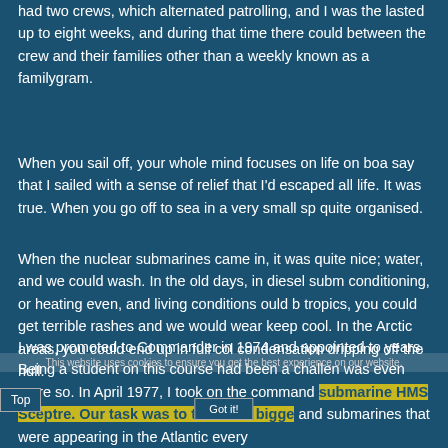had two crews, which alternated patrolling, and I was the lasted up to eight weeks, and during that time there could between the crew and their families other than a weekly known as a familygram.
When you sail off, your whole mind focuses on life on boa say that I sailed with a sense of relief that I'd escaped all life. It was true. When you go off to sea in a very small sp quite organised.
When the nuclear submarines came in, it was quite nice; water, and we could wash. In the old days, in diesel subm conditioning, or heating even, and living conditions ould b tropics, you could get terrible rashes and we would wear keep cool. In the Arctic areas, you could end up in full col condensation dripping off the hull.
I was promoted to Commander in 1974 and appointed to years. Being a student on this course had been a challen was even more so. In April 1977, I took on the command submarine HMS Sceptre. Our task was to track the bigge and submarines that were appearing in the Atlantic every